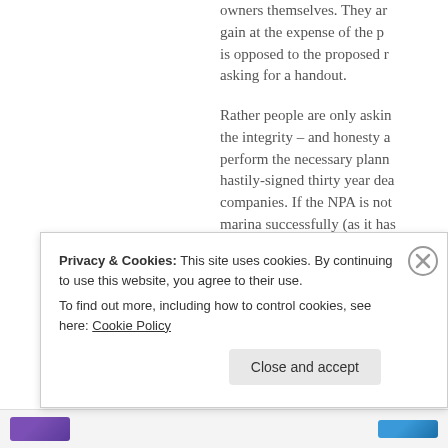owners themselves. They ar gain at the expense of the p is opposed to the proposed r asking for a handout.
Rather people are only askin the integrity – and honesty a perform the necessary plann hastily-signed thirty year dea companies. If the NPA is not marina successfully (as it has 2009) then perhaps they nee management prowess.
CEO Bernie Dumas, who app project single handedly, only office in 2008. All the other b have not made any public sta
Privacy & Cookies: This site uses cookies. By continuing to use this website, you agree to their use. To find out more, including how to control cookies, see here: Cookie Policy